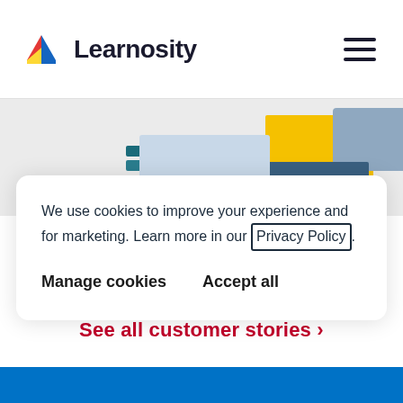[Figure (logo): Learnosity logo with colorful book icon and company name]
[Figure (illustration): Abstract decorative hero image with yellow, blue-gray, and teal geometric shapes]
We use cookies to improve your experience and for marketing. Learn more in our Privacy Policy
Manage cookies   Accept all
See all customer stories >